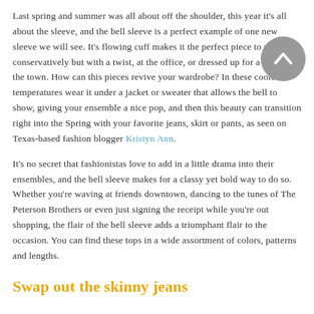Last spring and summer was all about off the shoulder, this year it's all about the sleeve, and the bell sleeve is a perfect example of one new sleeve we will see. It's flowing cuff makes it the perfect piece to wear conservatively but with a twist, at the office, or dressed up for a night on the town. How can this pieces revive your wardrobe? In these cooler temperatures wear it under a jacket or sweater that allows the bell to show, giving your ensemble a nice pop, and then this beauty can transition right into the Spring with your favorite jeans, skirt or pants, as seen on Texas-based fashion blogger Kristyn Ann.
It's no secret that fashionistas love to add in a little drama into their ensembles, and the bell sleeve makes for a classy yet bold way to do so. Whether you're waving at friends downtown, dancing to the tunes of The Peterson Brothers or even just signing the receipt while you're out shopping, the flair of the bell sleeve adds a triumphant flair to the occasion. You can find these tops in a wide assortment of colors, patterns and lengths.
Swap out the skinny jeans